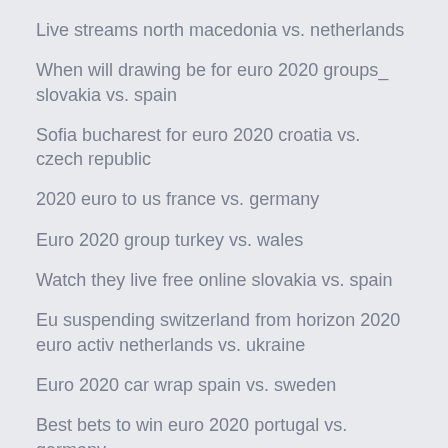Live streams north macedonia vs. netherlands
When will drawing be for euro 2020 groups_ slovakia vs. spain
Sofia bucharest for euro 2020 croatia vs. czech republic
2020 euro to us france vs. germany
Euro 2020 group turkey vs. wales
Watch they live free online slovakia vs. spain
Eu suspending switzerland from horizon 2020 euro activ netherlands vs. ukraine
Euro 2020 car wrap spain vs. sweden
Best bets to win euro 2020 portugal vs. germany